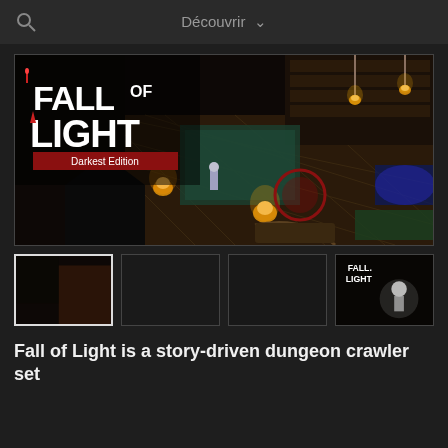Découvrir
[Figure (screenshot): Fall of Light: Darkest Edition game screenshot showing an isometric dungeon crawler view with a character in a dark, lamp-lit dungeon environment. The game logo 'FALL OF LIGHT Darkest Edition' is visible in the top-left corner.]
[Figure (screenshot): Thumbnail row showing four game screenshots: first thumbnail selected with white border, second and third are dark/grey, fourth shows the Fall of Light logo with a figure in darkness.]
Fall of Light is a story-driven dungeon crawler set